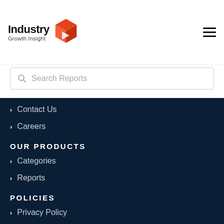[Figure (logo): Industry Growth Insight logo with orange/red 3D box icon]
Search Reports
Contact Us
Careers
OUR PRODUCTS
Categories
Reports
POLICIES
Privacy Policy
Terms & Conditions
Sitemap
PAYMENT MODES